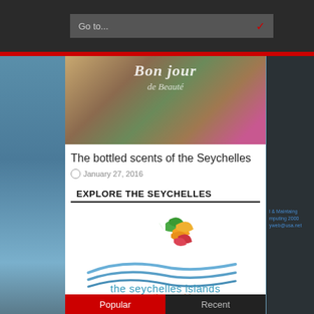[Figure (screenshot): Go to... dropdown navigation bar on dark background header]
[Figure (photo): Photo of Bonjour Beauté perfume bottles with tropical flowers in background]
The bottled scents of the Seychelles
January 27, 2016
EXPLORE THE SEYCHELLES
[Figure (logo): The Seychelles Islands logo - colorful tropical bird/flower motif with wave and text 'the seychelles islands another world']
Popular
Recent